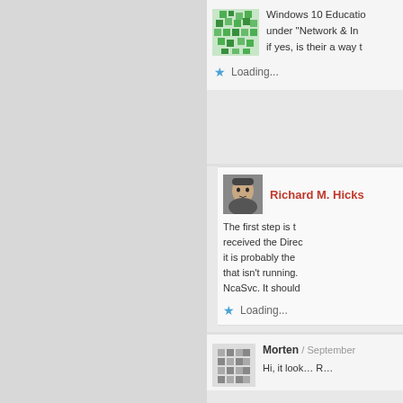Windows 10 Education under “Network & In… if yes, is their a way t…
Loading...
Richard M. Hicks
The first step is t… received the Direc… it is probably the… that isn’t running.… NcaSvc. It should…
Loading...
Morten / September…
Hi, it look… R…